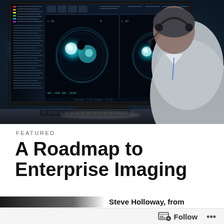[Figure (photo): A medical professional wearing a headset viewed from behind, sitting at a workstation and examining CT scan images on a large monitor in a dark room. The monitor displays two chest CT cross-section images.]
FEATURED
A Roadmap to Enterprise Imaging
Steve Holloway, from
Follow ...